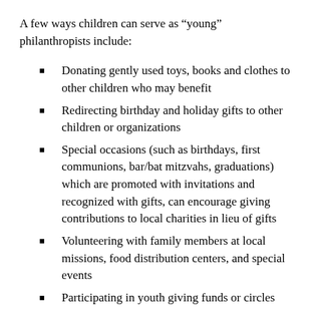A few ways children can serve as “young” philanthropists include:
Donating gently used toys, books and clothes to other children who may benefit
Redirecting birthday and holiday gifts to other children or organizations
Special occasions (such as birthdays, first communions, bar/bat mitzvahs, graduations) which are promoted with invitations and recognized with gifts, can encourage giving contributions to local charities in lieu of gifts
Volunteering with family members at local missions, food distribution centers, and special events
Participating in youth giving funds or circles
Family volunteering engages children in philanthropy and creates a unique way of spending time together. Ideas and opportunities are limitless and family fun is just one